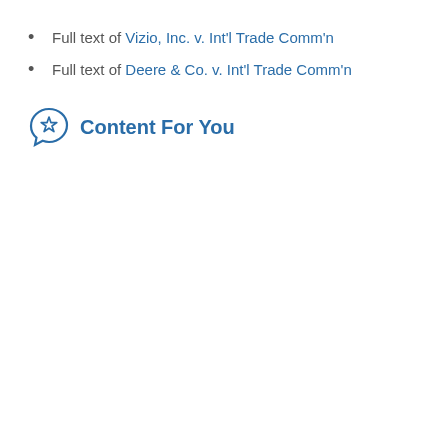Full text of Vizio, Inc. v. Int'l Trade Comm'n
Full text of Deere & Co. v. Int'l Trade Comm'n
Content For You